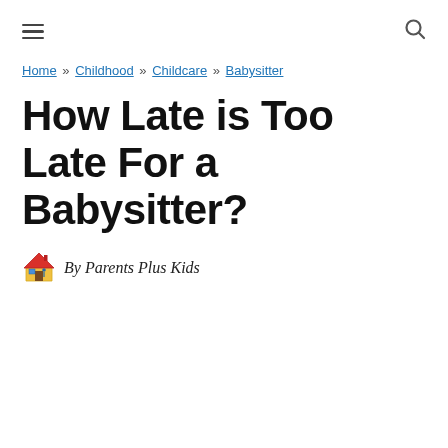≡ [menu icon] [search icon]
Home » Childhood » Childcare » Babysitter
How Late is Too Late For a Babysitter?
By Parents Plus Kids